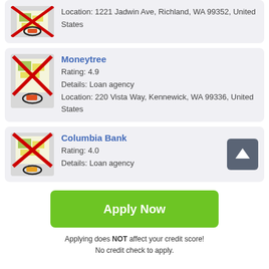[Figure (screenshot): Map thumbnail with red X for first card (partial, top of page)]
Location: 1221 Jadwin Ave, Richland, WA 99352, United States
[Figure (screenshot): Map thumbnail with red X for Moneytree card]
Moneytree
Rating: 4.9
Details: Loan agency
Location: 220 Vista Way, Kennewick, WA 99336, United States
[Figure (screenshot): Map thumbnail with red X for Columbia Bank card]
Columbia Bank
Rating: 4.0
Details: Loan agency
Apply Now
Applying does NOT affect your credit score!
No credit check to apply.